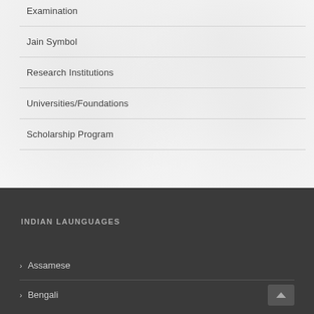Examination
Jain Symbol
Research Institutions
Universities/Foundations
Scholarship Program
INDIAN LAUNGUAGES
Assamese
Bengali